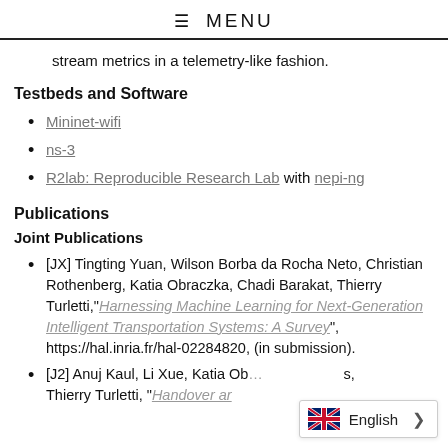≡ MENU
stream metrics in a telemetry-like fashion.
Testbeds and Software
Mininet-wifi
ns-3
R2lab: Reproducible Research Lab with nepi-ng
Publications
Joint Publications
[JX] Tingting Yuan, Wilson Borba da Rocha Neto, Christian Rothenberg, Katia Obraczka, Chadi Barakat, Thierry Turletti,"Harnessing Machine Learning for Next-Generation Intelligent Transportation Systems: A Survey", https://hal.inria.fr/hal-02284820, (in submission).
[J2] Anuj Kaul, Li Xue, Katia Ob... s, Thierry Turletti, "Handover ar...